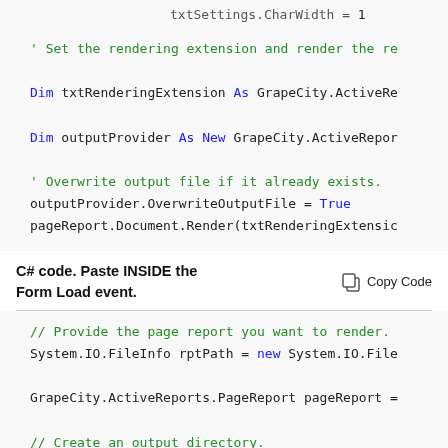[Figure (screenshot): VB.NET code block showing txtSettings.CharWidth, rendering extension declaration, outputProvider declaration, overwrite output file comment and assignment, and pageReport.Document.Render call]
C# code. Paste INSIDE the Form Load event.
[Figure (screenshot): C# code block showing: comment to provide page report, System.IO.FileInfo rptPath = new System.IO.File..., GrapeCity.ActiveReports.PageReport pageReport =, comment to create output directory, System.IO.DirectoryInfo outputDirectory = new S..., outputDirectory.Create();, comment to provide settings for rendering output, var txtSettings = new GrapeCity.ActiveReports.E...]